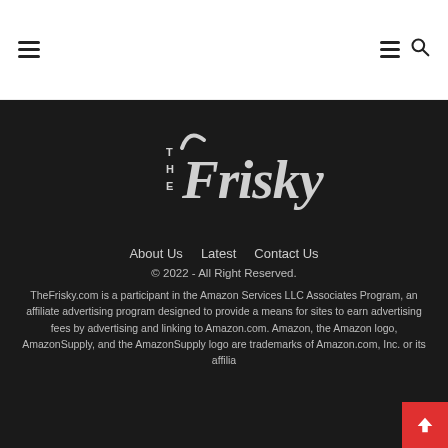The Frisky website header navigation
[Figure (logo): The Frisky logo — stylized white script wordmark 'Frisky' with 'THE' stacked vertically on left, on dark background]
About Us   Latest   Contact Us
© 2022 - All Right Reserved.
TheFrisky.com is a participant in the Amazon Services LLC Associates Program, an affiliate advertising program designed to provide a means for sites to earn advertising fees by advertising and linking to Amazon.com. Amazon, the Amazon logo, AmazonSupply, and the AmazonSupply logo are trademarks of Amazon.com, Inc. or its affilia